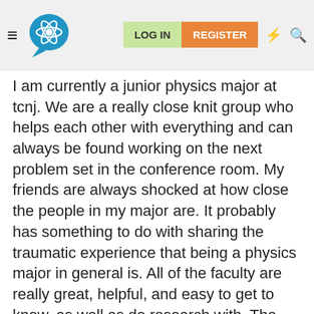LOG IN | REGISTER
I am currently a junior physics major at tcnj. We are a really close knit group who helps each other with everything and can always be found working on the next problem set in the conference room. My friends are always shocked at how close the people in my major are. It probably has something to do with sharing the traumatic experience that being a physics major in general is. All of the faculty are really great, helpful, and easy to get to know, as well as do research with. The only advantage Temple could possibly have is being a university, and therefore having a graduate program with more access to research and funding. However, this could also be a disadvantage, since the professors may not